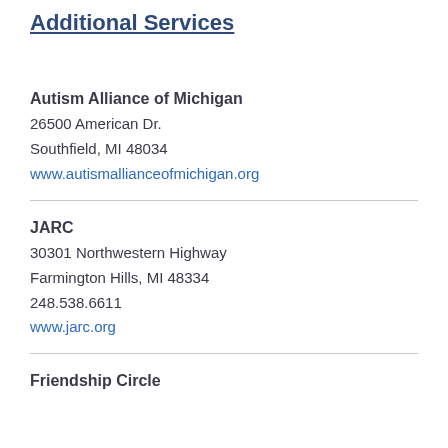Additional Services
Autism Alliance of Michigan
26500 American Dr.
Southfield, MI 48034
www.autismallianceofmichigan.org
JARC
30301 Northwestern Highway
Farmington Hills, MI 48334
248.538.6611
www.jarc.org
Friendship Circle